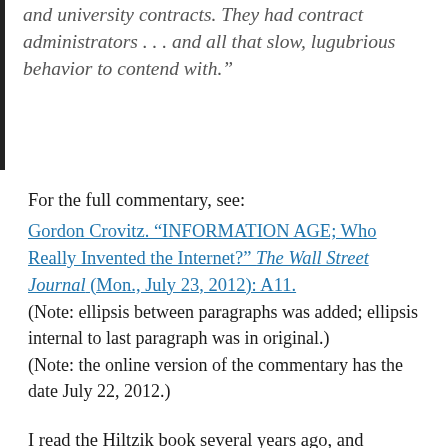and university contracts. They had contract administrators . . . and all that slow, lugubrious behavior to contend with.”
For the full commentary, see:
Gordon Crovitz. “INFORMATION AGE; Who Really Invented the Internet?” The Wall Street Journal (Mon., July 23, 2012): A11.
(Note: ellipsis between paragraphs was added; ellipsis internal to last paragraph was in original.)
(Note: the online version of the commentary has the date July 22, 2012.)
I read the Hiltzik book several years ago, and